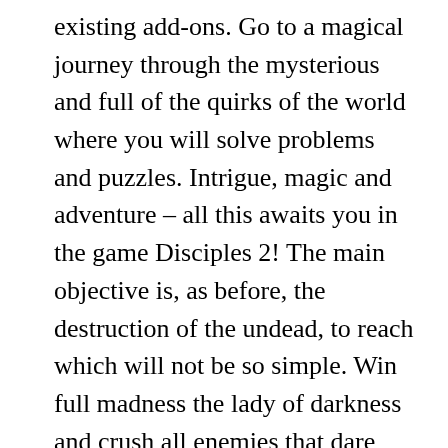existing add-ons. Go to a magical journey through the mysterious and full of the quirks of the world where you will solve problems and puzzles. Intrigue, magic and adventure – all this awaits you in the game Disciples 2! The main objective is, as before, the destruction of the undead, to reach which will not be so simple. Win full madness the lady of darkness and crush all enemies that dare stand in your way. This terrible ruler planned to enslave the world and capture the peace of the land to cover their dark impenetrable veil. You should do everything possible to prevent such a tragic outcome. In the course of action try to improve the skills of the main character, and do not forget to replenish